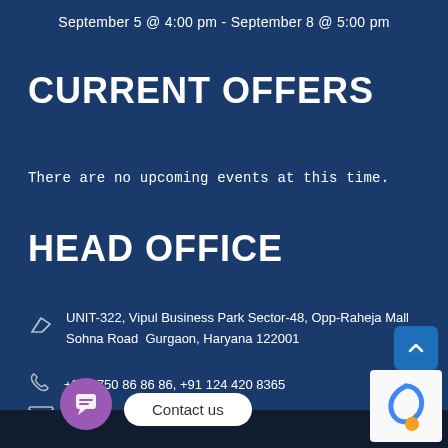September 5 @ 4:00 pm - September 8 @ 5:00 pm
CURRENT OFFERS
There are no upcoming events at this time.
HEAD OFFICE
UNIT-322, Vipul Business Park Sector-48, Opp-Raheja Mall Sohna Road  Gurgaon, Haryana 122001
+91 8750 86 86 86, +91 124 420 8365
info@larisarealtech.com
Contact us